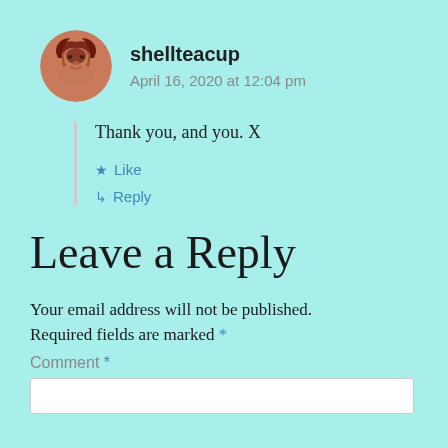shellteacup
April 16, 2020 at 12:04 pm
Thank you, and you. X
Like
Reply
Leave a Reply
Your email address will not be published. Required fields are marked *
Comment *